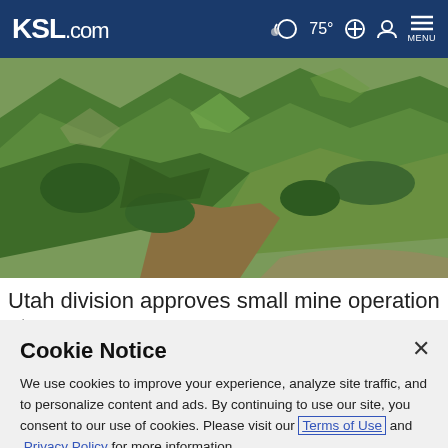KSL.com  75°  MENU
[Figure (photo): Aerial view of green mountainous terrain with forested slopes and valleys]
Utah division approves small mine operation at
Cookie Notice
We use cookies to improve your experience, analyze site traffic, and to personalize content and ads. By continuing to use our site, you consent to our use of cookies. Please visit our Terms of Use and  Privacy Policy for more information.
Continue